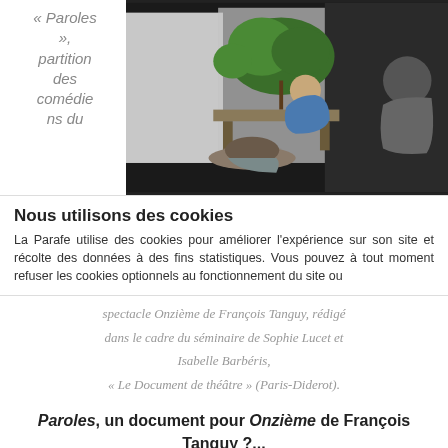« Paroles », partition des comédiens du
[Figure (photo): Theater stage photo showing an actor in a blue dress seated among plants and screens, with another figure in foreground.]
Nous utilisons des cookies
La Parafe utilise des cookies pour améliorer l'expérience sur son site et récolte des données à des fins statistiques. Vous pouvez à tout moment refuser les cookies optionnels au fonctionnement du site ou
spectacle Onzième de François Tanguy, rédigé dans le cadre du séminaire de Sophie Lucet et Isabelle Barbéris,
« Le Document de théâtre » (Paris-Diderot).
Paroles, un document pour Onzième de François Tanguy ?...